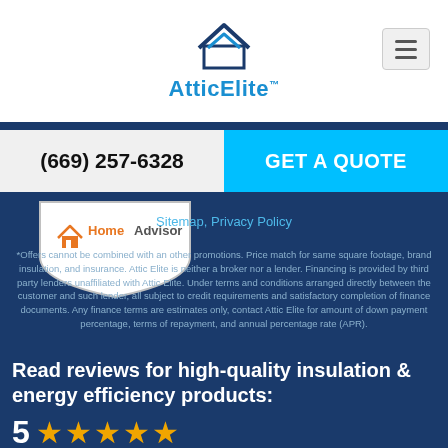[Figure (logo): AtticElite logo with house icon and blue text]
(669) 257-6328
GET A QUOTE
[Figure (logo): HomeAdvisor badge/shield logo]
Sitemap, Privacy Policy
*Offers cannot be combined with an other promotions. Price match for same square footage, brand insulation, and insurance. Attic Elite is neither a broker nor a lender. Financing is provided by third party lenders unaffiliated with Attic Elite. Under terms and conditions arranged directly between the customer and such lender, all subject to credit requirements and satisfactory completion of finance documents. Any finance terms are estimates only, contact Attic Elite for amount of down payment percentage, terms of repayment, and annual percentage rate (APR).
Read reviews for high-quality insulation & energy efficiency products:
5 ★★★★★
5 out of 5 stars (based on 172 reviews)